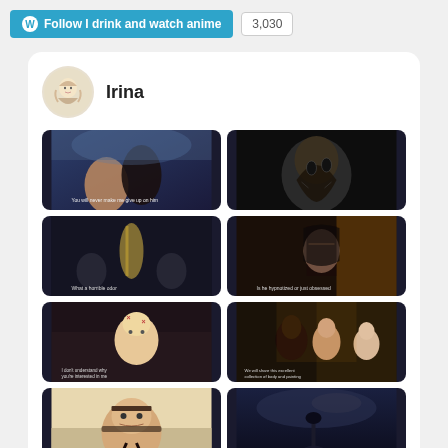Follow I drink and watch anime  3,030
Irina
[Figure (screenshot): Anime screenshot: two characters facing each other at dusk, with subtitle text]
[Figure (screenshot): Anime screenshot: a dark zombie-like creature looking up]
[Figure (screenshot): Anime screenshot: dark scene with glowing skeletal figure, subtitle 'What a horrible odor']
[Figure (screenshot): Anime screenshot: dark-haired girl in amber light, subtitle text]
[Figure (screenshot): Anime screenshot: blonde girl with X marks, subtitle 'I don't understand why you're interested in me']
[Figure (screenshot): Anime screenshot: older man and two women in ornate setting, subtitle text]
[Figure (screenshot): Anime screenshot: man rubbing his eyes with hands]
[Figure (screenshot): Anime screenshot: dark nighttime scene with ship silhouette against cloudy sky]